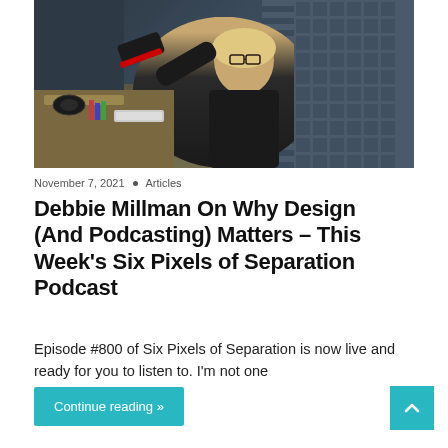[Figure (photo): Woman with blonde hair and glasses in all-black outfit sitting in a podcast studio with red-soled boots propped up, acoustic foam wall panels in background, microphone and headphones visible]
November 7, 2021 • Articles
Debbie Millman On Why Design (And Podcasting) Matters – This Week's Six Pixels of Separation Podcast
Episode #800 of Six Pixels of Separation is now live and ready for you to listen to. I'm not one
Continue reading »